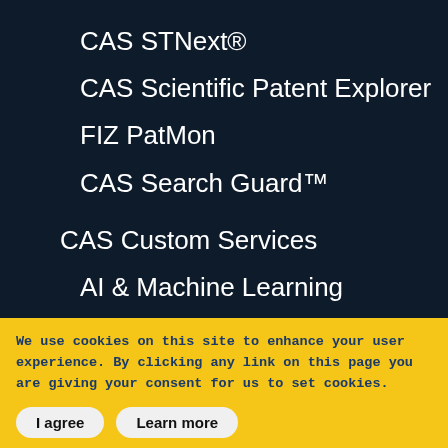CAS STNext®
CAS Scientific Patent Explorer
FIZ PatMon
CAS Search Guard™
CAS Custom Services
AI & Machine Learning
Advanced Analytics
We use cookies on this site to enhance your user experience. By clicking any link on this page you are giving your consent for us to set cookies.
I agree
Learn more